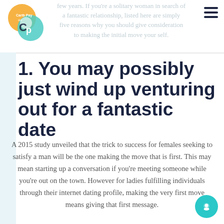few years. If you're a solitary woman in search of a fantastic relationship, listed here are simply five reasons why you should give consideration to making the initial move your self.
1. You may possibly just wind up venturing out for a fantastic date
A 2015 study unveiled that the trick to success for females seeking to satisfy a man will be the one making the move that is first. This may mean starting up a conversation if you're meeting someone while you're out on the town. However for ladies fulfilling individuals through their internet dating profile, making the very first move means giving that first message.